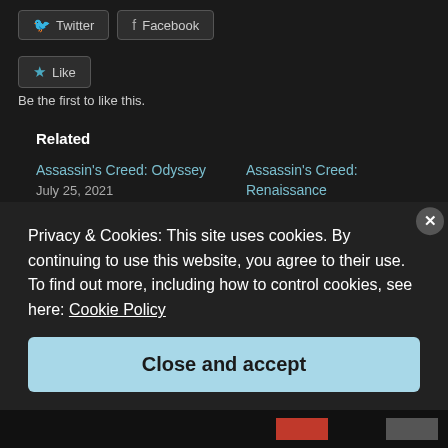Twitter  Facebook
★ Like
Be the first to like this.
Related
Assassin's Creed: Odyssey
July 25, 2021
Assassin's Creed: Renaissance
Privacy & Cookies: This site uses cookies. By continuing to use this website, you agree to their use.
To find out more, including how to control cookies, see here: Cookie Policy
Close and accept